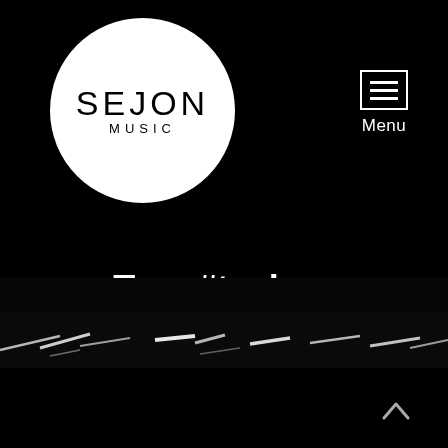[Figure (logo): Sejon Music logo: white circle with 'SEJON MUSIC' text in black]
Menu
Tag: #techno
[Figure (photo): Dark photo strip showing DJ stage lighting streaks against black background]